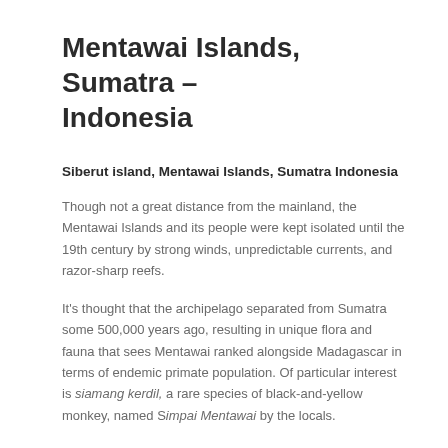Mentawai Islands, Sumatra – Indonesia
Siberut island, Mentawai Islands, Sumatra Indonesia
Though not a great distance from the mainland, the Mentawai Islands and its people were kept isolated until the 19th century by strong winds, unpredictable currents, and razor-sharp reefs.
It's thought that the archipelago separated from Sumatra some 500,000 years ago, resulting in unique flora and fauna that sees Mentawai ranked alongside Madagascar in terms of endemic primate population. Of particular interest is siamang kerdil, a rare species of black-and-yellow monkey, named Simpai Mentawai by the locals.
The largest island, Siberut, is home to the majority of the Mentawai population and is the most studied and protected island in the archipelago. About 60% of Siberut is still covered with tropical rainforest, which shelters a rich biological community that